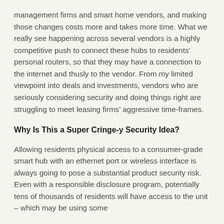management firms and smart home vendors, and making those changes costs more and takes more time. What we really see happening across several vendors is a highly competitive push to connect these hubs to residents' personal routers, so that they may have a connection to the internet and thusly to the vendor. From my limited viewpoint into deals and investments, vendors who are seriously considering security and doing things right are struggling to meet leasing firms' aggressive time-frames.
Why Is This a Super Cringe-y Security Idea?
Allowing residents physical access to a consumer-grade smart hub with an ethernet port or wireless interface is always going to pose a substantial product security risk. Even with a responsible disclosure program, potentially tens of thousands of residents will have access to the unit – which may be using some